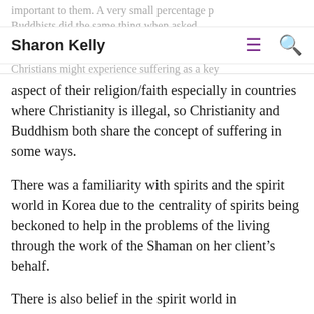Sharon Kelly
aspect of their religion/faith especially in countries where Christianity is illegal, so Christianity and Buddhism both share the concept of suffering in some ways.
There was a familiarity with spirits and the spirit world in Korea due to the centrality of spirits being beckoned to help in the problems of the living through the work of the Shaman on her client’s behalf.
There is also belief in the spirit world in Christianity. There are many spirits including the Holy Spirit, which Jesus called “the comforter”. Jesus said he would send the comforter to his disciples once he ascended back to God in the heavenly realm. In